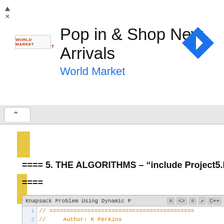[Figure (screenshot): Advertisement banner for World Market: 'Pop in & Shop New Arrivals' with blue World Market text and a blue diamond turn navigation icon]
==== 5. THE ALGORITHMS – "include Project5.h"
====
[Figure (screenshot): Code editor screenshot showing Knapsack Problem Using Dynamic Programming header with C++ source file lines 1-8 and partial line 9. Comments show Author: K Perkins, Date: Nov 3 2013, Taken From: http://programmingnotes.or, File: Project5.h, Description: This is a simple class wh project 5]